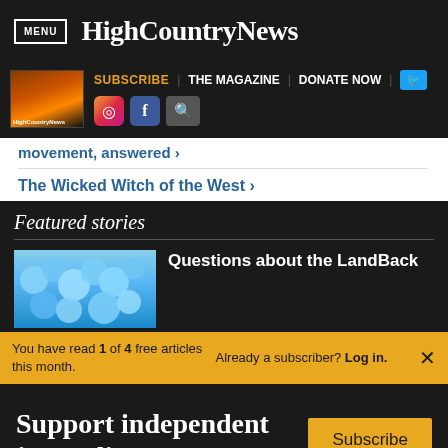MENU | High Country News
[Figure (screenshot): High Country News website navigation bar with magazine thumbnail, SUBSCRIBE, THE MAGAZINE, DONATE NOW links, Twitter button, Instagram, Facebook, and search icons]
movement, answered ›
The Wicked Witch of the West ›
Featured stories
Questions about the LandBack
You have read 1 of 4 free articles this month.
Already a subscriber? Log in.
Support independent journalism.
Subscribe